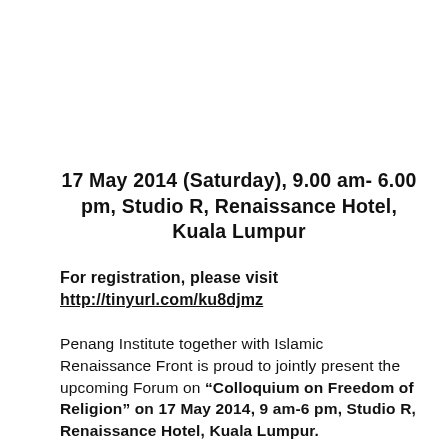17 May 2014 (Saturday), 9.00 am- 6.00 pm, Studio R, Renaissance Hotel, Kuala Lumpur
For registration, please visit http://tinyurl.com/ku8djmz
Penang Institute together with Islamic Renaissance Front is proud to jointly present the upcoming Forum on “Colloquium on Freedom of Religion” on 17 May 2014, 9 am-6 pm, Studio R, Renaissance Hotel, Kuala Lumpur.